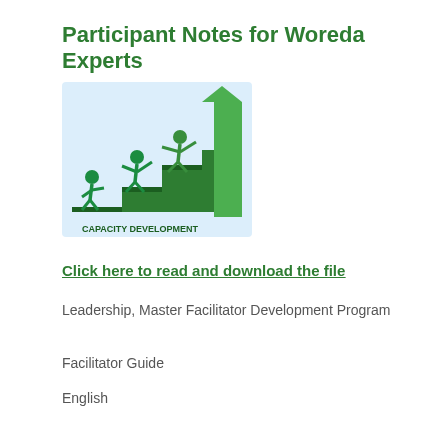Participant Notes for Woreda Experts
[Figure (logo): Capacity Development for Change logo showing silhouettes of people climbing steps helping each other, with a green upward arrow and text 'CAPACITY DEVELOPMENT FOR CHANGE']
Click here to read and download the file
Leadership, Master Facilitator Development Program
Facilitator Guide
English